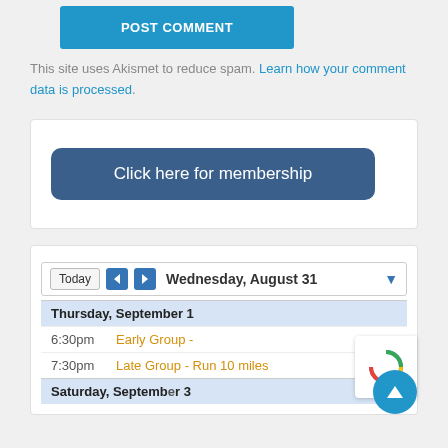POST COMMENT
This site uses Akismet to reduce spam. Learn how your comment data is processed.
[Figure (screenshot): Blue rounded button labeled 'Click here for membership']
[Figure (screenshot): Calendar widget showing Wednesday, August 31 with events on Thursday September 1: 6:30pm Early Group, 7:30pm Late Group - Run 10 miles, and Saturday September 3 header]